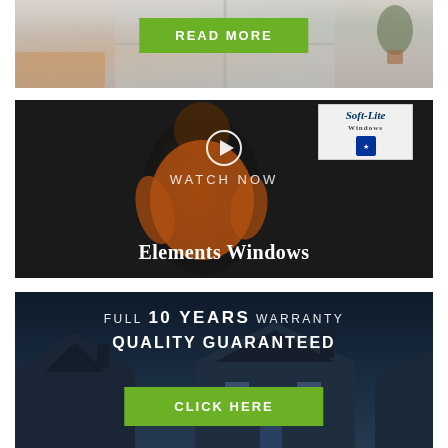[Figure (photo): Interior room/window photo with a green READ MORE button overlay]
[Figure (screenshot): Video thumbnail of a man in orange shirt presenting in front of Soft-Lite Windows signage, with play button, WATCH NOW label, and Elements Windows title]
[Figure (photo): House exterior photo with warranty text overlay: FULL 10 YEARS WARRANTY, QUALITY GUARANTEED, and a green CLICK HERE button]